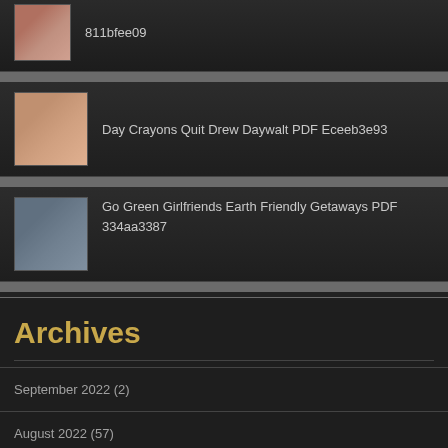811bfee09
Day Crayons Quit Drew Daywalt PDF Eceeb3e93
Go Green Girlfriends Earth Friendly Getaways PDF 334aa3387
Archives
September 2022 (2)
August 2022 (57)
July 2022 (52)